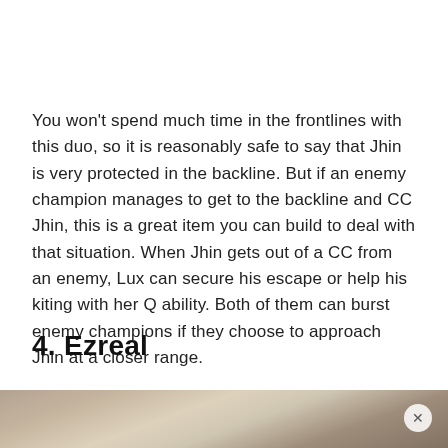You won't spend much time in the frontlines with this duo, so it is reasonably safe to say that Jhin is very protected in the backline. But if an enemy champion manages to get to the backline and CC Jhin, this is a great item you can build to deal with that situation. When Jhin gets out of a CC from an enemy, Lux can secure his escape or help his kiting with her Q ability. Both of them can burst enemy champions if they choose to approach Jhin at a closer range.
4. Ezreal
[Figure (photo): Partially visible photo at bottom of page, appears to show a game character or cinematic scene with warm golden/brown tones]